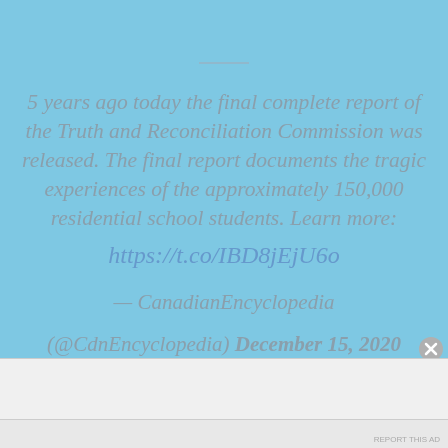5 years ago today the final complete report of the Truth and Reconciliation Commission was released. The final report documents the tragic experiences of the approximately 150,000 residential school students. Learn more: https://t.co/IBD8jEjU6o
— CanadianEncyclopedia (@CdnEncyclopedia) December 15, 2020
Advertisements
Build a writing habit. Post on the go.
GET THE APP